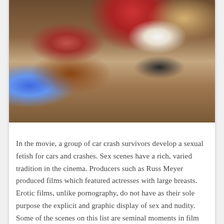[Figure (photo): A movie still showing a woman with red curly hair wearing a brown outfit lying/reclining with a decorative blanket/throw, interacting with a man in a white shirt and dark vest, in an ornate Victorian-style room with red curtains and antique furniture.]
In the movie, a group of car crash survivors develop a sexual fetish for cars and crashes. Sex scenes have a rich, varied tradition in the cinema. Producers such as Russ Meyer produced films which featured actresses with large breasts. Erotic films, unlike pornography, do not have as their sole purpose the explicit and graphic display of sex and nudity. Some of the scenes on this list are seminal moments in film history for better and for worse. They may be 'old-fashioned,' risque, blatant, mature, PG, excessive, suggestive, cheap, exploitative,